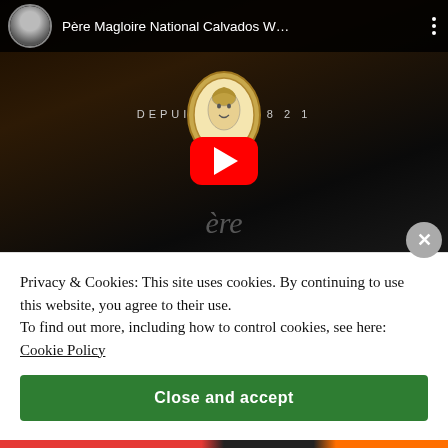[Figure (screenshot): YouTube video thumbnail for 'Père Magloire National Calvados W...' showing a bartender pouring liquid against a dark background, with the Père Magloire medallion logo (DEPUIS 1821) and a YouTube play button overlay. The video is embedded in a webpage.]
Privacy & Cookies: This site uses cookies. By continuing to use this website, you agree to their use.
To find out more, including how to control cookies, see here: Cookie Policy
Close and accept